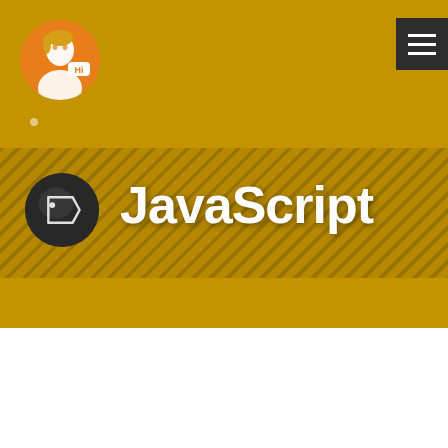[Figure (screenshot): Website header screenshot with golden/amber background, circular avatar logo with man illustration and 'Hi' badge, dark hamburger menu button top right, diagonal striped banner with dark tag/label icon, and large bold white 'JavaScript' text.]